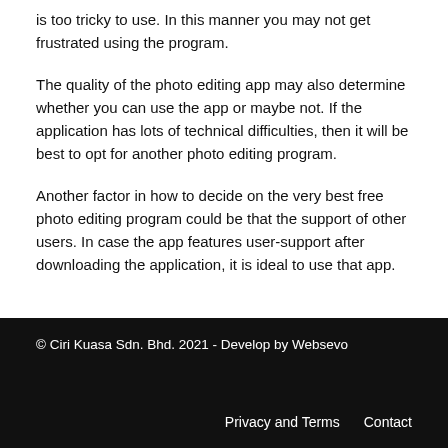is too tricky to use. In this manner you may not get frustrated using the program.
The quality of the photo editing app may also determine whether you can use the app or maybe not. If the application has lots of technical difficulties, then it will be best to opt for another photo editing program.
Another factor in how to decide on the very best free photo editing program could be that the support of other users. In case the app features user-support after downloading the application, it is ideal to use that app.
© Ciri Kuasa Sdn. Bhd. 2021 - Develop by Websevo
Privacy and Terms   Contact